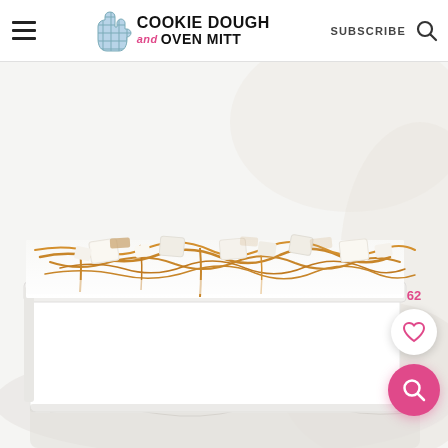Cookie Dough and Oven Mitt — SUBSCRIBE
[Figure (photo): A white rectangular baking dish filled with a creamy white dessert (ice cream or cheesecake), topped with caramel drizzle and white chocolate chunks, sitting on crumpled white parchment paper. Close-up food photography with bright, airy background.]